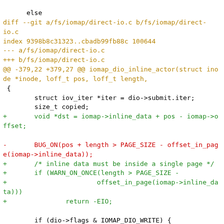[Figure (screenshot): A git diff output showing changes to fs/iomap/direct-io.c. The diff replaces a BUG_ON call with a WARN_ON_ONCE check and adds inline data handling using a void *dst pointer.]